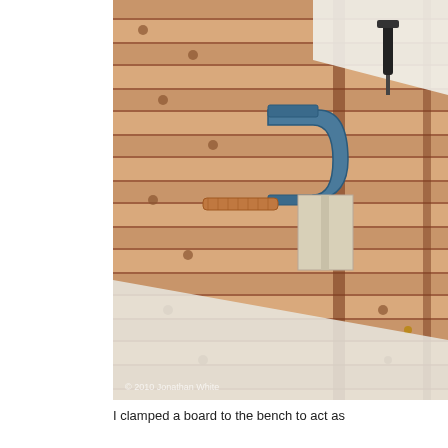[Figure (photo): A woodworking workbench (pine/cedar planks with dog holes) photographed from above at an angle. A blue C-clamp with a copper/orange threaded screw holds a pale wood block/stop against a white painted board. In the upper right corner there is another clamp or tool. A copyright watermark reads '© 2010 Jonathan White' in the lower left of the photo.]
I clamped a board to the bench to act as